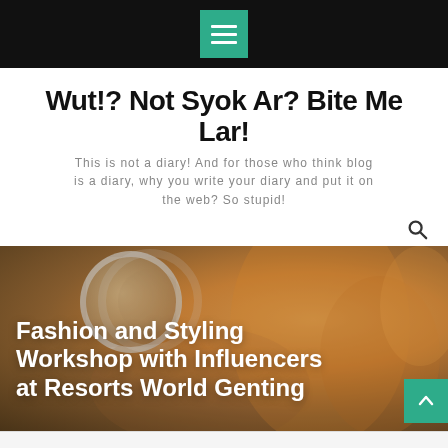Navigation menu bar with hamburger icon
Wut!? Not Syok Ar? Bite Me Lar!
This is not a diary! And for those who think blog is a diary, why you write your diary and put it on the web? So stupid!
[Figure (photo): Hero image showing a cartoon cat (Garfield-like orange cat) with a magnifying glass, overlaid with white text reading 'Fashion and Styling Workshop with Influencers at Resorts World Genting'. A teal scroll-to-top arrow button is in the bottom right corner.]
Fashion and Styling Workshop with Influencers at Resorts World Genting